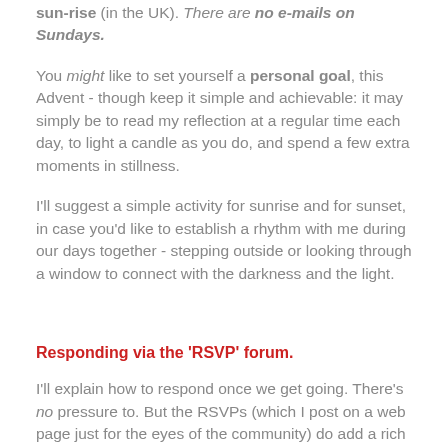sun-rise (in the UK). There are no e-mails on Sundays.
You might like to set yourself a personal goal, this Advent - though keep it simple and achievable: it may simply be to read my reflection at a regular time each day, to light a candle as you do, and spend a few extra moments in stillness.
I'll suggest a simple activity for sunrise and for sunset, in case you'd like to establish a rhythm with me during our days together - stepping outside or looking through a window to connect with the darkness and the light.
Responding via the 'RSVP' forum.
I'll explain how to respond once we get going. There's no pressure to. But the RSVPs (which I post on a web page just for the eyes of the community) do add a rich